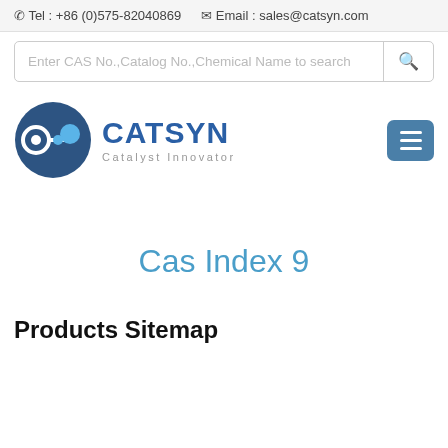Tel : +86 (0)575-82040869   Email : sales@catsyn.com
[Figure (screenshot): Search bar with placeholder text: Enter CAS No.,Catalog No.,Chemical Name to search, and a search icon button]
[Figure (logo): CATSYN logo with circular icon and text 'CATSYN Catalyst Innovator', plus hamburger menu button on right]
Cas Index 9
Products Sitemap